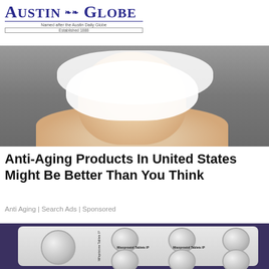[Figure (logo): Austin Globe newspaper logo with decorative emblem, subtitle 'Named after the Austin Daily Globe', established date]
[Figure (photo): Woman washing her face with white foam/cleanser, gray background, smiling]
Anti-Aging Products In United States Might Be Better Than You Think
Anti Aging | Search Ads | Sponsored
[Figure (photo): Blister pack of Mifepristone Tablets IP and Misoprostol Tablets IP pills on dark purple background]